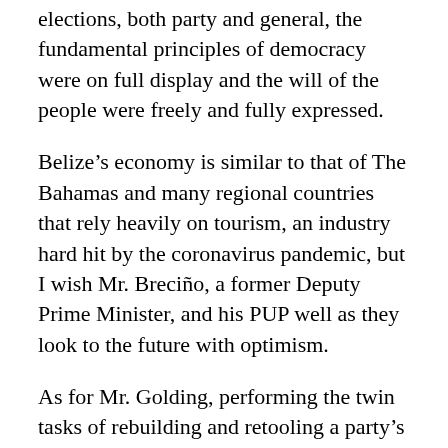elections, both party and general, the fundamental principles of democracy were on full display and the will of the people were freely and fully expressed.
Belize’s economy is similar to that of The Bahamas and many regional countries that rely heavily on tourism, an industry hard hit by the coronavirus pandemic, but I wish Mr. Breciño, a former Deputy Prime Minister, and his PUP well as they look to the future with optimism.
As for Mr. Golding, performing the twin tasks of rebuilding and retooling a party’s institutional infrastructure while assisting in shaping the country’s legislative regime are awesome responsibilities that are critical to maintaining and deepening the country’s democracy. I also